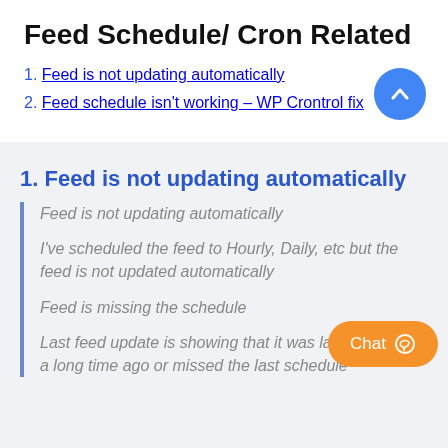Feed Schedule/ Cron Related
1. Feed is not updating automatically
2. Feed schedule isn't working – WP Crontrol fix
1. Feed is not updating automatically
Feed is not updating automatically
I've scheduled the feed to Hourly, Daily, etc but the feed is not updated automatically
Feed is missing the schedule
Last feed update is showing that it was last generated a long time ago or missed the last schedule